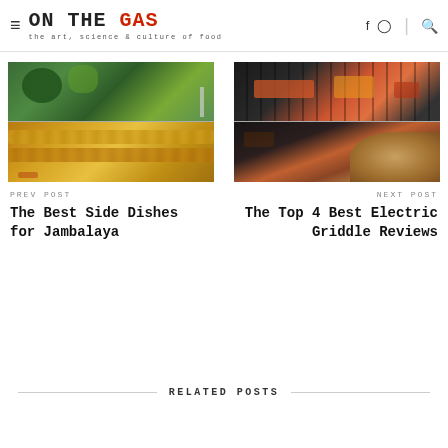ON THE GAS — the art, science & culture of food
[Figure (photo): Composite of two food photos: top shows a green salad/herbs in a bowl with a fork, bottom shows grilled corn on the cob with chili flakes on a dark background]
PREV POST
The Best Side Dishes for Jambalaya
[Figure (photo): Composite of two food photos: top shows vegetables on a grill with colorful peppers, bottom shows an electric griddle with a wooden spatula]
NEXT POST
The Top 4 Best Electric Griddle Reviews
RELATED POSTS